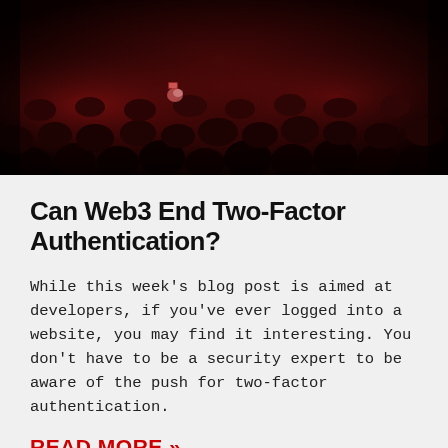[Figure (photo): Dark photo of audience crowd in a theater or event venue, with red lighting tones. Silhouettes of people seated, some faces faintly visible.]
Can Web3 End Two-Factor Authentication?
While this week's blog post is aimed at developers, if you've ever logged into a website, you may find it interesting. You don't have to be a security expert to be aware of the push for two-factor authentication.
READ MORE »